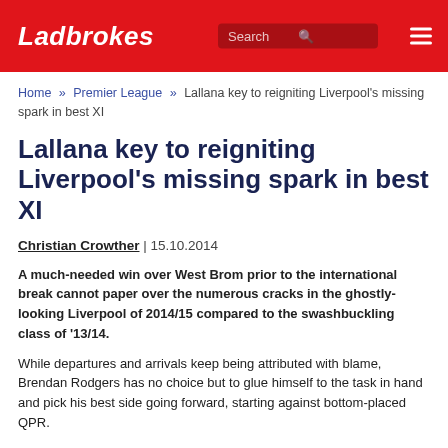Ladbrokes
Home » Premier League » Lallana key to reigniting Liverpool's missing spark in best XI
Lallana key to reigniting Liverpool's missing spark in best XI
Christian Crowther | 15.10.2014
A much-needed win over West Brom prior to the international break cannot paper over the numerous cracks in the ghostly-looking Liverpool of 2014/15 compared to the swashbuckling class of '13/14.
While departures and arrivals keep being attributed with blame, Brendan Rodgers has no choice but to glue himself to the task in hand and pick his best side going forward, starting against bottom-placed QPR.
The Reds are 8/13 to take the spoils, though their fans will need scant reminding that Luis Suarez's brace had a large part to play in their club's last victory at Loftus Road two seasons ago.
Playing the role of Rodgers, here's how we'd hang the shirts 1-11 in the